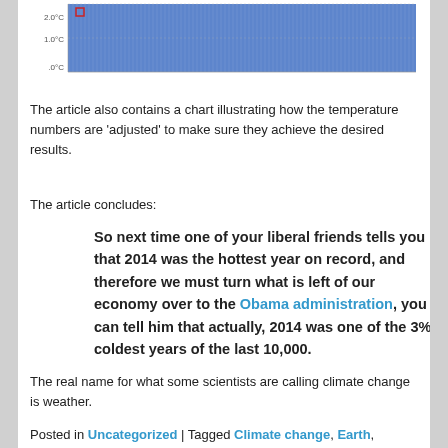[Figure (continuous-plot): Partial bar chart showing temperature data with blue bars, y-axis labels showing 2.0°C and 1.0°C and .0°C, cropped at top.]
The article also contains a chart illustrating how the temperature numbers are 'adjusted' to make sure they achieve the desired results.
The article concludes:
So next time one of your liberal friends tells you that 2014 was the hottest year on record, and therefore we must turn what is left of our economy over to the Obama administration, you can tell him that actually, 2014 was one of the 3% coldest years of the last 10,000.
The real name for what some scientists are calling climate change is weather.
Posted in Uncategorized | Tagged Climate change, Earth,